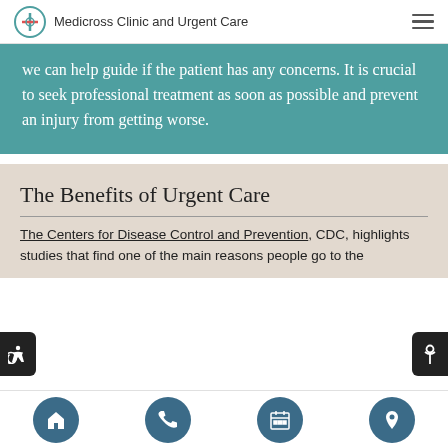Medicross Clinic and Urgent Care
we can help guide if the patient has any concerns. It is crucial to seek professional treatment as soon as possible and prevent an injury from getting worse.
The Benefits of Urgent Care
The Centers for Disease Control and Prevention, CDC, highlights studies that find one of the main reasons people go to the